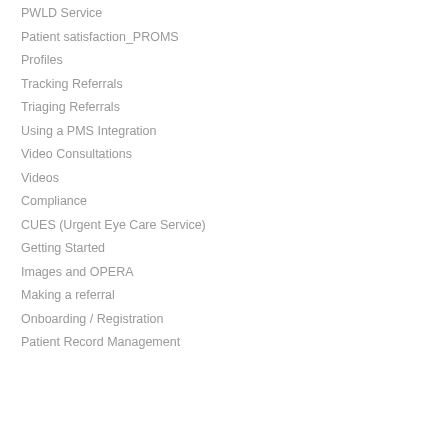PWLD Service
Patient satisfaction_PROMS
Profiles
Tracking Referrals
Triaging Referrals
Using a PMS Integration
Video Consultations
Videos
Compliance
CUES (Urgent Eye Care Service)
Getting Started
Images and OPERA
Making a referral
Onboarding / Registration
Patient Record Management